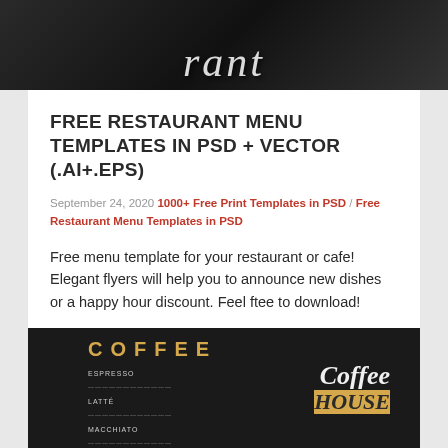[Figure (photo): Dark background restaurant/food image with handwritten-style text partially visible at top]
FREE RESTAURANT MENU TEMPLATES IN PSD + VECTOR (.AI+.EPS)
September 24, 2020 1000+ Free Print Templates in PSD / Free Restaurant Menu Templates in PSD
Free menu template for your restaurant or cafe! Elegant flyers will help you to announce new dishes or a happy hour discount. Feel ftee to download!
> Read More
[Figure (photo): Coffee House menu template on dark background with gold COFFEE title and Coffee House script text]